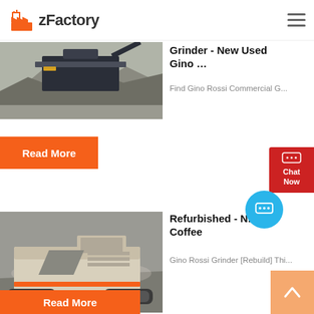[Figure (logo): zFactory logo with orange factory/building icon and bold text 'zFactory']
[Figure (photo): Industrial rock crusher / aggregate processing machine with gravel pile, outdoor setting]
Grinder - New Used Gino ...
Find Gino Rossi Commercial G...
Read More
[Figure (photo): Heavy tracked mobile jaw crusher machine in rocky/dusty quarry environment]
Refurbished - N... Coffee
Gino Rossi Grinder [Rebuild] Thi...
Read More